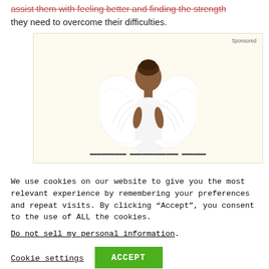assist them with feeling better and finding the strength they need to overcome their difficulties.
[Figure (photo): Advertisement with a woman seen from behind wearing white angel wings and a white dress, on a cream background. Label 'Sponsored' in top right. Partial bold title text visible at bottom.]
We use cookies on our website to give you the most relevant experience by remembering your preferences and repeat visits. By clicking “Accept”, you consent to the use of ALL the cookies.
Do not sell my personal information.
Cookie settings   ACCEPT